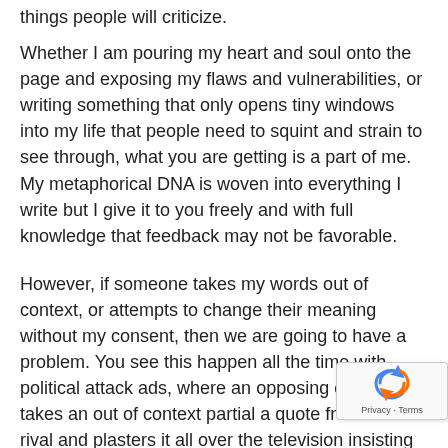things people will criticize.
Whether I am pouring my heart and soul onto the page and exposing my flaws and vulnerabilities, or writing something that only opens tiny windows into my life that people need to squint and strain to see through, what you are getting is a part of me. My metaphorical DNA is woven into everything I write but I give it to you freely and with full knowledge that feedback may not be favorable.
However, if someone takes my words out of context, or attempts to change their meaning without my consent, then we are going to have a problem. You see this happen all the time with political attack ads, where an opposing candidate takes an out of context partial a quote from their rival and plasters it all over the television insisting “the other candidate” is a terrible person. This type of forced con switching is commonplace with written and spoken wo it turns out that the visual artistic realm is not immune either.